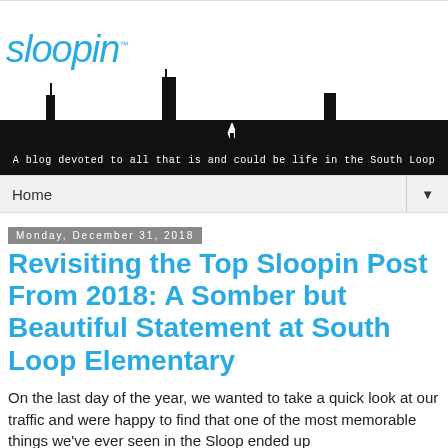[Figure (illustration): Sloopin blog banner with logo text 'sloopin' in italic blue font and a black silhouette of the Chicago skyline. White text at bottom reads: 'A blog devoted to all that is and could be life in the South Loop']
Home
Monday, December 31, 2018
Revisiting the Top Sloopin Post From 2018: A Somber but Beautiful Statement at South Loop Elementary
On the last day of the year, we wanted to take a quick look at our traffic and were happy to find that one of the most memorable things we've ever seen in the Sloop ended up